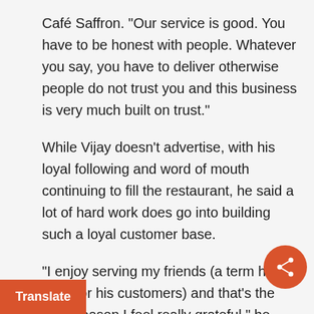Café Saffron. “Our service is good. You have to be honest with people. Whatever you say, you have to deliver otherwise people do not trust you and this business is very much built on trust.”
While Vijay doesn’t advertise, with his loyal following and word of mouth continuing to fill the restaurant, he said a lot of hard work does go into building such a loyal customer base.
“I enjoy serving my friends (a term he uses for his customers) and that’s the main reason I feel really grateful,” he said.